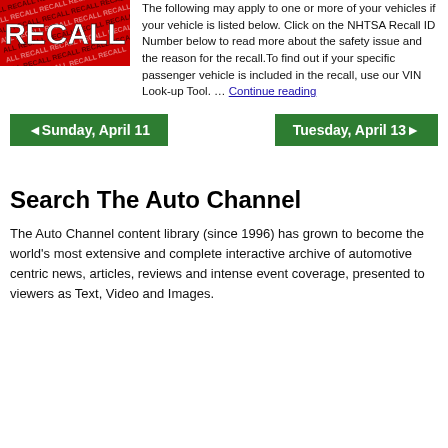[Figure (photo): Red background RECALL sign with white bold text and diagonal repeated 'RECALL' text pattern in black and white stripes]
The following may apply to one or more of your vehicles if your vehicle is listed below. Click on the NHTSA Recall ID Number below to read more about the safety issue and the reason for the recall.To find out if your specific passenger vehicle is included in the recall, use our VIN Look-up Tool. … Continue reading
◄Sunday, April 11
Tuesday, April 13►
Search The Auto Channel
The Auto Channel content library (since 1996) has grown to become the world's most extensive and complete interactive archive of automotive centric news, articles, reviews and intense event coverage, presented to viewers as Text, Video and Images.